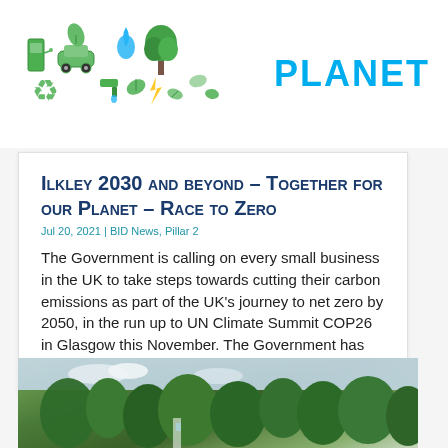[Figure (illustration): Green eco icons including electric car charging station, electric car, water drop, tree, recycling symbol, leaf, electric plug, faucet, arranged in a cluster]
PLANET
Ilkley 2030 and beyond – Together for our Planet – Race to Zero
Jul 20, 2021 | BID News, Pillar 2
The Government is calling on every small business in the UK to take steps towards cutting their carbon emissions as part of the UK's journey to net zero by 2050, in the run up to UN Climate Summit COP26 in Glasgow this November. The Government has launched the...
[Figure (photo): Outdoor photo showing trees with green foliage against a cloudy sky, with what appears to be a building or signage partially visible through the trees]